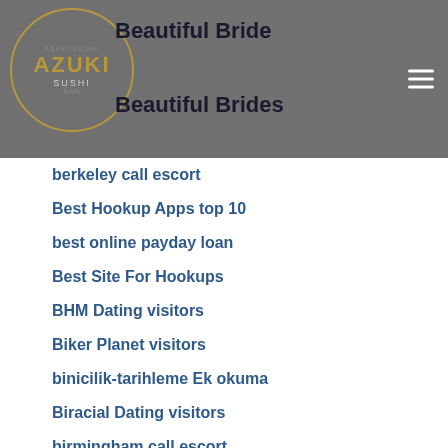Beautiful Bride
Beautiful Brides
berkeley call escort
Best Hookup Apps top 10
best online payday loan
Best Site For Hookups
BHM Dating visitors
Biker Planet visitors
binicilik-tarihleme Ek okuma
Biracial Dating visitors
birmingham call escort
Black Dating gratis